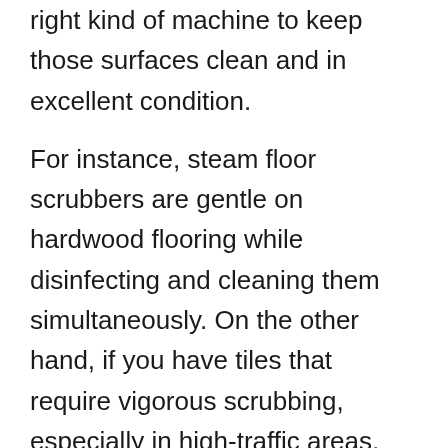right kind of machine to keep those surfaces clean and in excellent condition.
For instance, steam floor scrubbers are gentle on hardwood flooring while disinfecting and cleaning them simultaneously. On the other hand, if you have tiles that require vigorous scrubbing, especially in high-traffic areas, you can opt for a motorized floor scrubber with interchangeable brush heads.
If you have to maintain an outdoor area such as a car park, you can even purchase a street sweeper to keep rubbish at bay. Today's outdoor sweepers are either electric or fuel-powered, and they range from small ride-on machines to large